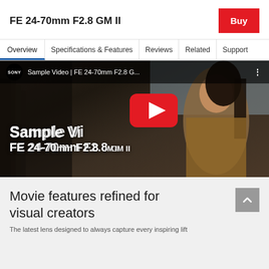FE 24-70mm F2.8 GM II
[Figure (screenshot): Red Buy button in top right corner]
Overview | Specifications & Features | Reviews | Related | Support
[Figure (screenshot): YouTube video embed showing Sony sample video for FE 24-70mm F2.8 GM II lens with a woman looking up, YouTube play button overlay, video title bar showing 'SONY Sample Video | FE 24-70mm F2.8 G...' with three-dot menu]
Movie features refined for visual creators
The latest lens designed to always capture every inspiring lift